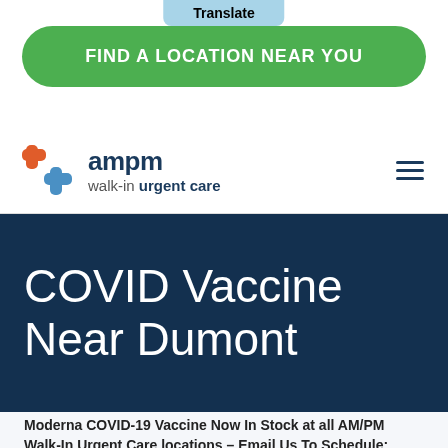Translate
FIND A LOCATION NEAR YOU
[Figure (logo): AM/PM Walk-In Urgent Care logo with a cross symbol in orange and blue, and text 'ampm walk-in urgent care']
COVID Vaccine Near Dumont
Moderna COVID-19 Vaccine Now In Stock at all AM/PM Walk-In Urgent Care locations – Email Us To Schedule: INFO@URGENTCARERUS.COM